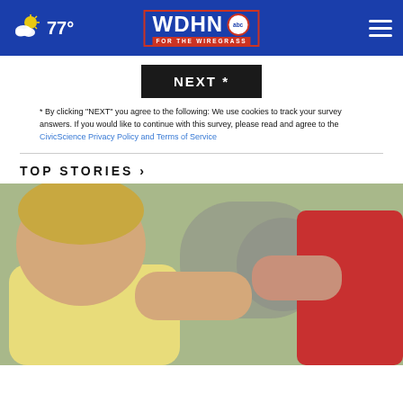77° WDHN ABC FOR THE WIREGRASS
NEXT *
* By clicking "NEXT" you agree to the following: We use cookies to track your survey answers. If you would like to continue with this survey, please read and agree to the CivicScience Privacy Policy and Terms of Service
TOP STORIES ›
[Figure (photo): Children playing, one child in yellow shirt with arm extended, another in red shirt, blurred background]